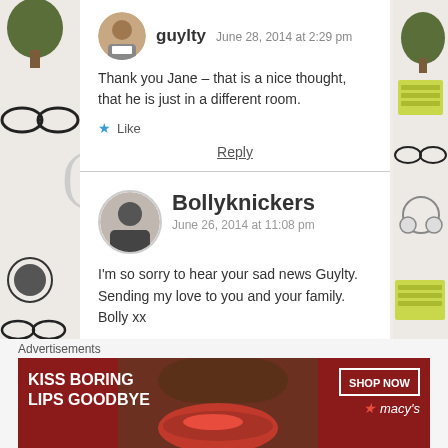guylty  June 28, 2014 at 2:29 pm
Thank you Jane – that is a nice thought, that he is just in a different room.
Like
Reply
Bollyknickers  June 26, 2014 at 11:08 pm
I'm so sorry to hear your sad news Guylty. Sending my love to you and your family. Bolly xx
Advertisements
[Figure (photo): Advertisement banner: KISS BORING LIPS GOODBYE with SHOP NOW button and macys logo on dark red background with woman's lips photo]